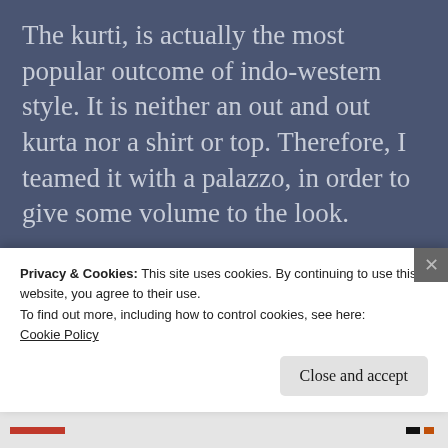The kurti, is actually the most popular outcome of indo-western style. It is neither an out and out kurta nor a shirt or top. Therefore, I teamed it with a palazzo, in order to give some volume to the look.
Advertisements
[Figure (screenshot): Advertisement banner showing partial text 'Getting your team on the']
This look is high up on comfort and can be easily taken to work. You can add some more accessories, like a
Privacy & Cookies: This site uses cookies. By continuing to use this website, you agree to their use.
To find out more, including how to control cookies, see here: Cookie Policy
Close and accept